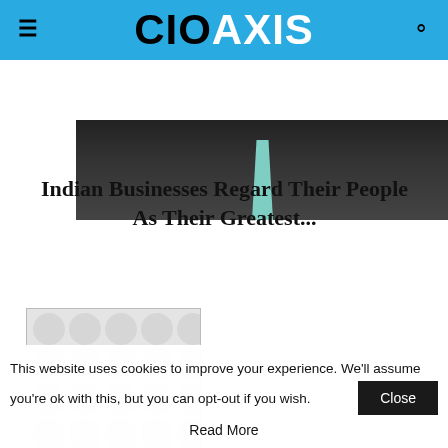CIO AXIS
[Figure (photo): Dark portrait photo of a person in a suit with a teal/turquoise tie, cropped to show neck/chest area only]
Indian Businesses Regard Their People As Their Greatest...
[Figure (photo): Thumbnail image with light grey decorative dot/circle pattern background]
This website uses cookies to improve your experience. We'll assume you're ok with this, but you can opt-out if you wish.
Close
Read More